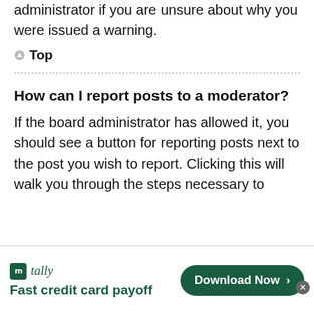Contact the board administrator if you are unsure about why you were issued a warning.
▲ Top
How can I report posts to a moderator?
If the board administrator has allowed it, you should see a button for reporting posts next to the post you wish to report. Clicking this will walk you through the steps necessary to
[Figure (screenshot): Tally app advertisement banner with logo, 'Fast credit card payoff' tagline, and 'Download Now' button. Close and help buttons visible.]